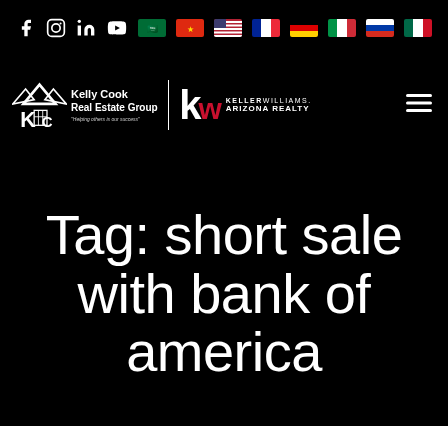Social media icons: Facebook, Instagram, LinkedIn, YouTube; Flag icons: Saudi Arabia, China, USA, France, Germany, Italy, Russia, Mexico
[Figure (logo): Kelly Cook Real Estate Group logo alongside Keller Williams Arizona Realty logo on black background with hamburger menu icon]
Tag: short sale with bank of america